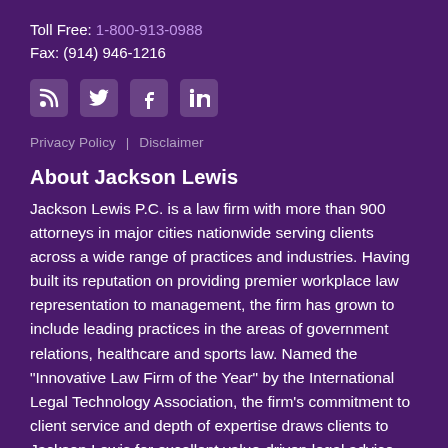Toll Free: 1-800-913-0988
Fax: (914) 946-1216
[Figure (illustration): Four social media icons: RSS feed, Twitter, Facebook, LinkedIn]
Privacy Policy | Disclaimer
About Jackson Lewis
Jackson Lewis P.C. is a law firm with more than 900 attorneys in major cities nationwide serving clients across a wide range of practices and industries. Having built its reputation on providing premier workplace law representation to management, the firm has grown to include leading practices in the areas of government relations, healthcare and sports law. Named the "Innovative Law Firm of the Year" by the International Legal Technology Association, the firm's commitment to client service and depth of expertise draws clients to Jackson Lewis for excellent value-driven legal advice